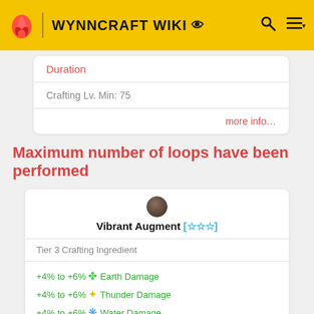WYNNCRAFT WIKI
| Field | Value |
| --- | --- |
| Duration |  |
| Crafting Lv. Min: 75 |  |
| more info... |  |
Maximum number of loops have been performed
| Item |
| --- |
| Vibrant Augment [☆☆☆] |
| Tier 3 Crafting Ingredient |
| +4% to +6% ✤ Earth Damage
+4% to +6% ✦ Thunder Damage
+4% to +6% ✹ Water Damage
+4% to +6% ✦ Fire Damage
+4% to +6% ✹ Air Damage
-59 Durability |